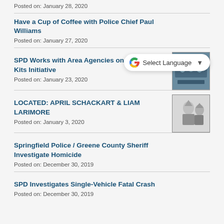Posted on: January 28, 2020
Have a Cup of Coffee with Police Chief Paul Williams
Posted on: January 27, 2020
SPD Works with Area Agencies on SAFE Kits Initiative
Posted on: January 23, 2020
[Figure (photo): Color photo related to SPD SAFE Kits Initiative showing people at a meeting table]
LOCATED: APRIL SCHACKART & LIAM LARIMORE
Posted on: January 3, 2020
[Figure (photo): Black and white photo of two people, a child and an adult wearing hats]
Springfield Police / Greene County Sheriff Investigate Homicide
Posted on: December 30, 2019
SPD Investigates Single-Vehicle Fatal Crash
Posted on: December 30, 2019